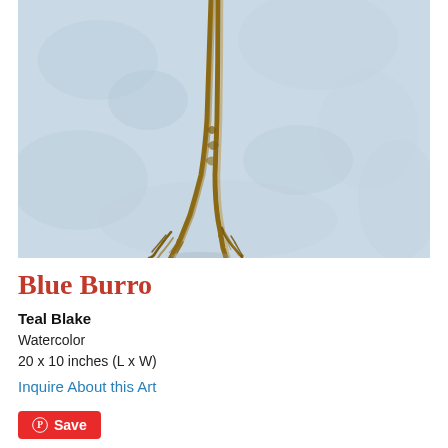[Figure (illustration): Watercolor painting showing two stalks or legs (possibly a burro's legs or dried plant stems) with golden-brown coloring against a pale blue-grey washed background.]
Blue Burro
Teal Blake
Watercolor
20 x 10 inches (L x W)
Inquire About this Art
Save